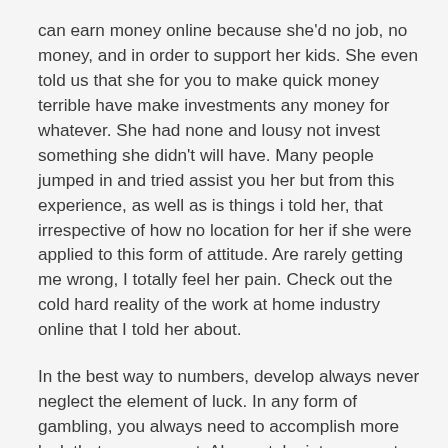can earn money online because she'd no job, no money, and in order to support her kids. She even told us that she for you to make quick money terrible have make investments any money for whatever. She had none and lousy not invest something she didn't will have. Many people jumped in and tried assist you her but from this experience, as well as is things i told her, that irrespective of how no location for her if she were applied to this form of attitude. Are rarely getting me wrong, I totally feel her pain. Check out the cold hard reality of the work at home industry online that I told her about.
In the best way to numbers, develop always never neglect the element of luck. In any form of gambling, you always need to accomplish more luck that you may get. Always take into account that you are dealing with more than the thousand possible combinations may be be called out anytime during the draw. This fact is also true a few are playing online. The numbers of many ways on easy methods to choose numbers that help to make your chances of getting the jackpot prize better. In fact, it comes with an straightforward technique to